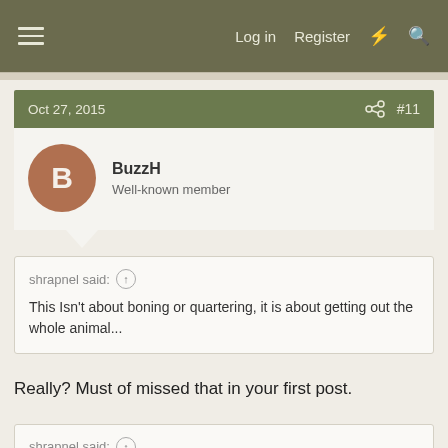Log in   Register
Oct 27, 2015   #11
BuzzH
Well-known member
shrapnel said: ↑
This Isn't about boning or quartering, it is about getting out the whole animal...
Really? Must of missed that in your first post.
shrapnel said: ↑
Shooting elk is always the easy part, handling them is work. I got this cow in open country, but getting her into the back of the truck is the hard part...